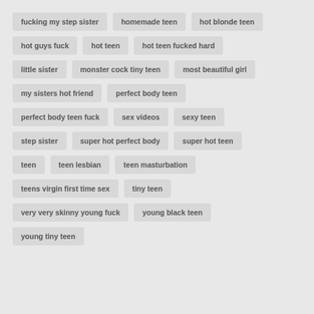fucking my step sister
homemade teen
hot blonde teen
hot guys fuck
hot teen
hot teen fucked hard
little sister
monster cock tiny teen
most beautiful girl
my sisters hot friend
perfect body teen
perfect body teen fuck
sex videos
sexy teen
step sister
super hot perfect body
super hot teen
teen
teen lesbian
teen masturbation
teens virgin first time sex
tiny teen
very very skinny young fuck
young black teen
young tiny teen